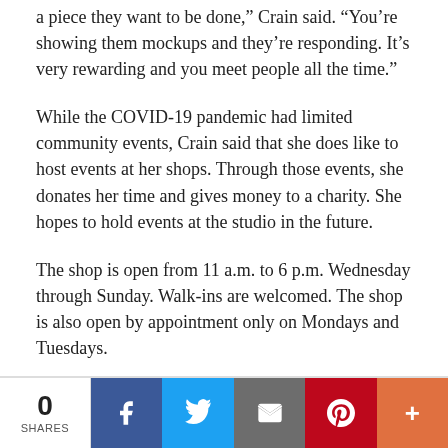a piece they want to be done,” Crain said. “You’re showing them mockups and they’re responding. It’s very rewarding and you meet people all the time.”
While the COVID-19 pandemic had limited community events, Crain said that she does like to host events at her shops. Through those events, she donates her time and gives money to a charity. She hopes to hold events at the studio in the future.
The shop is open from 11 a.m. to 6 p.m. Wednesday through Sunday. Walk-ins are welcomed. The shop is also open by appointment only on Mondays and Tuesdays.
To stay up to date on the Dancing Needles Studio, visit its Facebook page at facebook.com/dancingneedlestatttoo.
0 SHARES | Facebook | Twitter | Email | Pinterest | More